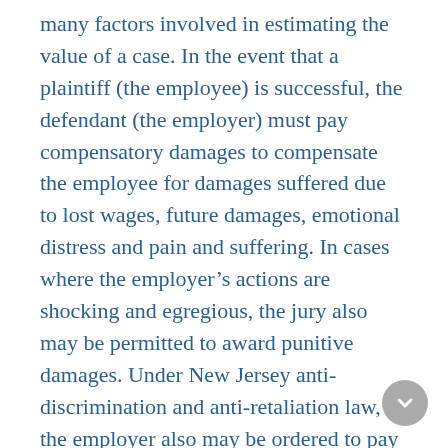many factors involved in estimating the value of a case. In the event that a plaintiff (the employee) is successful, the defendant (the employer) must pay compensatory damages to compensate the employee for damages suffered due to lost wages, future damages, emotional distress and pain and suffering. In cases where the employer's actions are shocking and egregious, the jury also may be permitted to award punitive damages. Under New Jersey anti-discrimination and anti-retaliation law, the employer also may be ordered to pay additional damages to compensate the plaintiff's attorney.
The easiest type of damages to calculate is economic damages. In a wrongful termination case, the damages are the amount of money that you would have earned if you had not been terminated minus the...